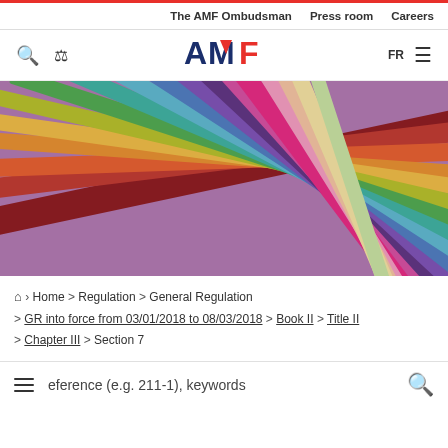The AMF Ombudsman   Press room   Careers
[Figure (logo): AMF logo with search and tool icons on left, FR language toggle and hamburger menu on right]
[Figure (photo): Fan of colorful books/folders spread out at an angle - pink, purple, orange, green, teal, yellow colors]
Home > Regulation > General Regulation > GR into force from 03/01/2018 to 08/03/2018 > Book II > Title II > Chapter III > Section 7
eference (e.g. 211-1), keywords